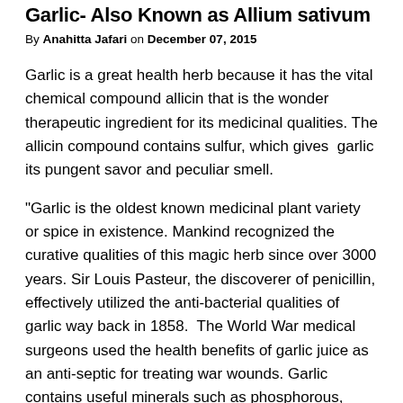Garlic- Also Known as Allium sativum
By Anahitta Jafari on December 07, 2015
Garlic is a great health herb because it has the vital chemical compound allicin that is the wonder therapeutic ingredient for its medicinal qualities. The allicin compound contains sulfur, which gives garlic its pungent savor and peculiar smell.
“Garlic is the oldest known medicinal plant variety or spice in existence. Mankind recognized the curative qualities of this magic herb since over 3000 years. Sir Louis Pasteur, the discoverer of penicillin, effectively utilized the anti-bacterial qualities of garlic way back in 1858. The World War medical surgeons used the health benefits of garlic juice as an anti-septic for treating war wounds. Garlic contains useful minerals such as phosphorous, calcium, and iron. The